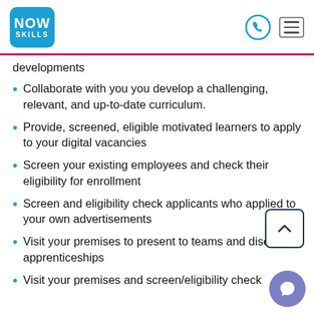NOW SKILLS
developments
Collaborate with you you develop a challenging, relevant, and up-to-date curriculum.
Provide, screened, eligible motivated learners to apply to your digital vacancies
Screen your existing employees and check their eligibility for enrollment
Screen and eligibility check applicants who applied to your own advertisements
Visit your premises to present to teams and discuss apprenticeships
Visit your premises and screen/eligibility check